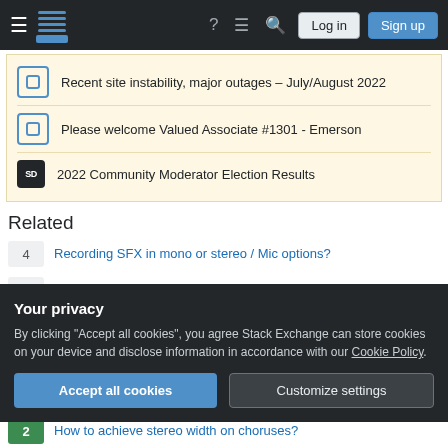Stack Exchange navigation bar with Log in and Sign up buttons
Recent site instability, major outages – July/August 2022
Please welcome Valued Associate #1301 - Emerson
2022 Community Moderator Election Results
Related
4  Recording SFX in mono or stereo / Mic options?
0  Single Stereo Mic vs. Matched Pair for mono compatibility.
3  Zoom H2 recordings with two different mic settings. How can I match them now?
Your privacy
By clicking "Accept all cookies", you agree Stack Exchange can store cookies on your device and disclose information in accordance with our Cookie Policy.
2  How to achieve stereo width on choruses?